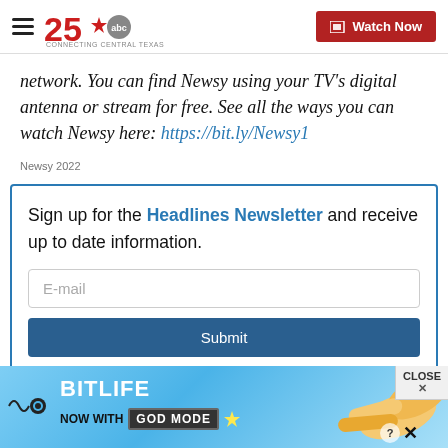[Figure (logo): KXXV ABC 25 - Connecting Central Texas logo and navigation header with Watch Now button]
network. You can find Newsy using your TV's digital antenna or stream for free. See all the ways you can watch Newsy here: https://bit.ly/Newsy1
Newsy 2022
Sign up for the Headlines Newsletter and receive up to date information.
E-mail
Submit
[Figure (illustration): BitLife - Now with GOD MODE advertisement banner with cartoon hands pointing]